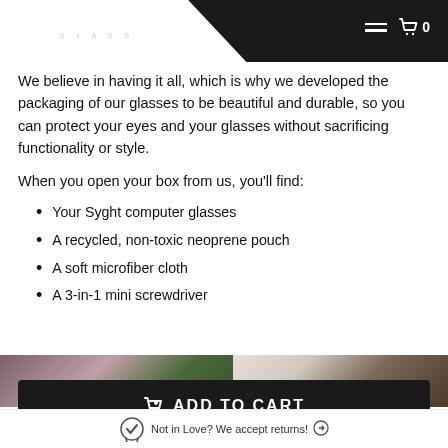SYGHT GLASS
We believe in having it all, which is why we developed the packaging of our glasses to be beautiful and durable, so you can protect your eyes and your glasses without sacrificing functionality or style.
When you open your box from us, you'll find:
Your Syght computer glasses
A recycled, non-toxic neoprene pouch
A soft microfiber cloth
A 3-in-1 mini screwdriver
[Figure (photo): Product image strip showing Syght glasses packaging and accessories]
ADD TO CART
Not in Love? We accept returns!